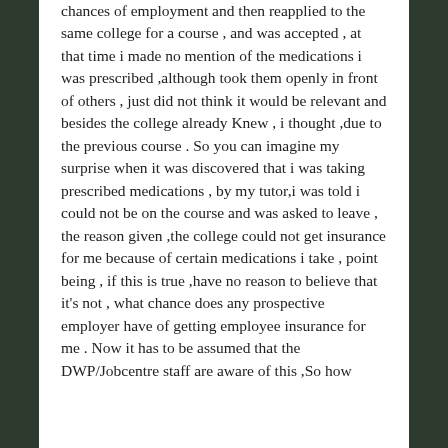chances of employment and then reapplied to the same college for a course , and was accepted , at that time i made no mention of the medications i was prescribed ,although took them openly in front of others , just did not think it would be relevant and besides the college already Knew , i thought ,due to the previous course . So you can imagine my surprise when it was discovered that i was taking prescribed medications , by my tutor,i was told i could not be on the course and was asked to leave , the reason given ,the college could not get insurance for me because of certain medications i take , point being , if this is true ,have no reason to believe that it's not , what chance does any prospective employer have of getting employee insurance for me . Now it has to be assumed that the DWP/Jobcentre staff are aware of this ,So how